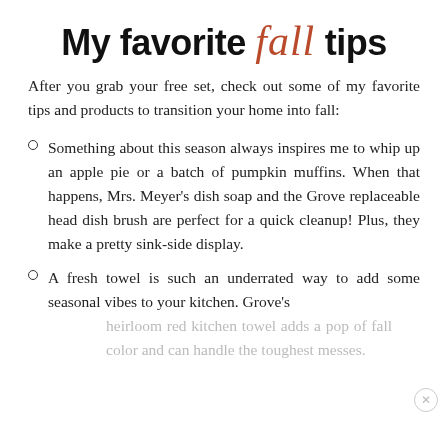My favorite fall tips
After you grab your free set, check out some of my favorite tips and products to transition your home into fall:
Something about this season always inspires me to whip up an apple pie or a batch of pumpkin muffins. When that happens, Mrs. Meyer's dish soap and the Grove replaceable head dish brush are perfect for a quick cleanup! Plus, they make a pretty sink-side display.
A fresh towel is such an underrated way to add some seasonal vibes to your kitchen. Grove's heirloom red kitchen towel adds a pop of fall color and can handle the toughest messes.